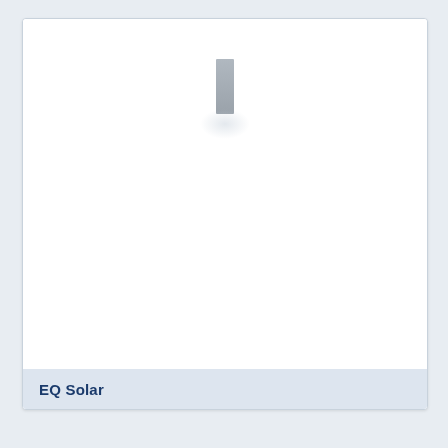[Figure (photo): Product card showing a solar panel device (EQ Solar) with a small vertical rectangular grey panel body centered at the top of a white card area, with a subtle radial glow/shadow below it. The card has a light blue-grey footer area.]
EQ Solar